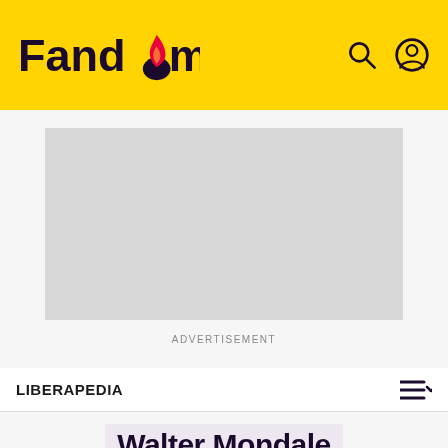Fandom
[Figure (other): Advertisement placeholder box]
ADVERTISEMENT
LIBERAPEDIA
Walter Mondale